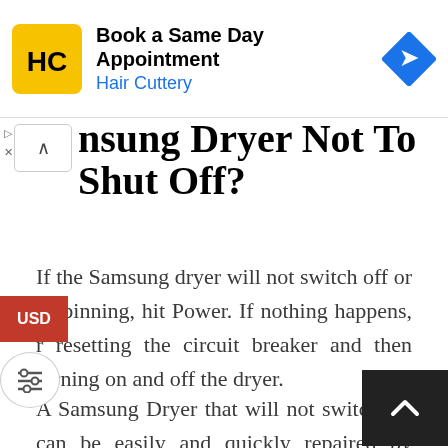[Figure (other): Hair Cuttery advertisement banner: logo with HC initials on yellow background, text 'Book a Same Day Appointment' and 'Hair Cuttery' in blue, blue diamond arrow icon on right]
nsung Dryer Not To Shut Off?
If the Samsung dryer will not switch off or p spinning, hit Power. If nothing happens, r resetting the circuit breaker and then turning on and off the dryer.
A Samsung Dryer that will not switch off can be easily and quickly repaired by gaining access to and disconnecting all circuit board